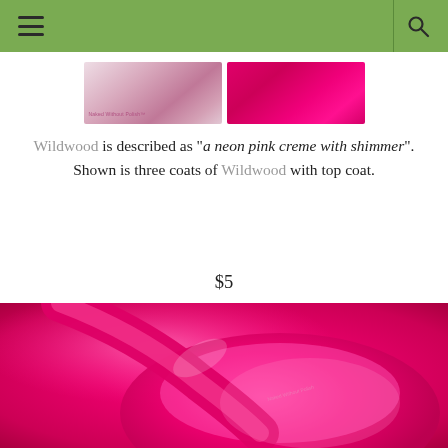Navigation header with hamburger menu and search icon
[Figure (photo): Top partial view: two images side by side — left shows a nail polish bottle with pink hue labeled Naked Without Polish, right shows a vivid neon pink fabric or material]
Wildwood is described as "a neon pink creme with shimmer". Shown is three coats of Wildwood with top coat.
$5
[Figure (photo): Close-up macro photograph of a neon hot pink nail polish in a round jar/pot with a small brush applicator, showing the highly pigmented vivid pink color with subtle shimmer. The jar lid reads Naked Without Polish.]